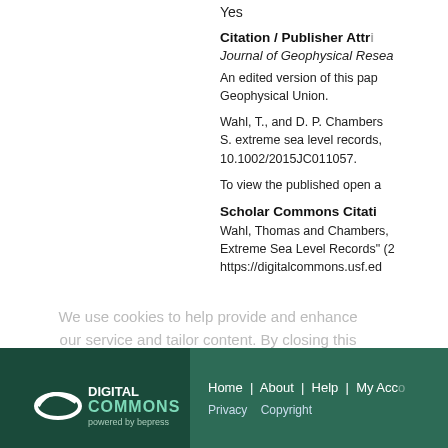Yes
Citation / Publisher Attribution
Journal of Geophysical Research
An edited version of this paper was published by American Geophysical Union.
Wahl, T., and D. P. Chambers (2015), Climate controls multidecadal variability in U. S. extreme sea level records, J. Geophys. Res. Oceans, 120, 3764–3786, doi: 10.1002/2015JC011057.
To view the published open access article, visit:
Scholar Commons Citation
Wahl, Thomas and Chambers, Don, "Climate Controls Multidecadal Variability in U. S. Extreme Sea Level Records" (2015). https://digitalcommons.usf.edu/
We use cookies to help provide and enhance our service and tailor content. By closing this message, you agree to the use of cookies.
Home | About | Help | My Account   Privacy   Copyright   Digital Commons powered by bepress